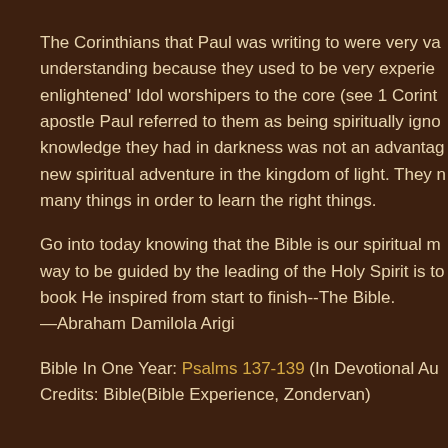The Corinthians that Paul was writing to were very va understanding because they used to be very experien enlightened' Idol worshipers to the core (see 1 Corint apostle Paul referred to them as being spiritually igno knowledge they had in darkness was not an advanta new spiritual adventure in the kingdom of light. They many things in order to learn the right things.
Go into today knowing that the Bible is our spiritual m way to be guided by the leading of the Holy Spirit is t book He inspired from start to finish--The Bible. —Abraham Damilola Arigi
Bible In One Year: Psalms 137-139 (In Devotional Au Credits: Bible(Bible Experience, Zondervan)